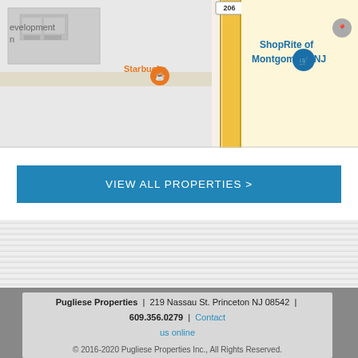[Figure (map): Google Maps screenshot showing Starbucks and ShopRite of Montgomery, NJ with road 206 visible]
VIEW ALL PROPERTIES >
[Figure (other): Horizontal striped divider section]
Pugliese Properties | 219 Nassau St. Princeton NJ 08542 | 609.356.0279 | Contact us online
© 2016-2020 Pugliese Properties Inc., All Rights Reserved.